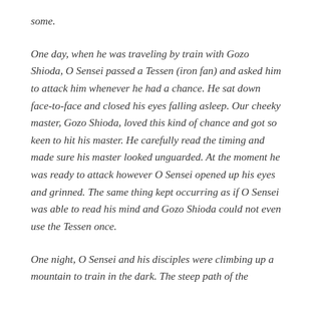some.
One day, when he was traveling by train with Gozo Shioda, O Sensei passed a Tessen (iron fan) and asked him to attack him whenever he had a chance. He sat down face-to-face and closed his eyes falling asleep. Our cheeky master, Gozo Shioda, loved this kind of chance and got so keen to hit his master. He carefully read the timing and made sure his master looked unguarded. At the moment he was ready to attack however O Sensei opened up his eyes and grinned. The same thing kept occurring as if O Sensei was able to read his mind and Gozo Shioda could not even use the Tessen once.
One night, O Sensei and his disciples were climbing up a mountain to train in the dark. The steep path of the